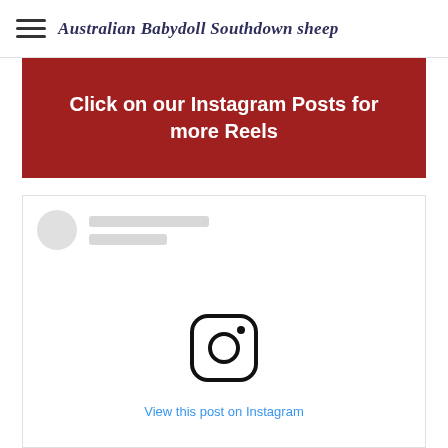Australian Babydoll Southdown sheep
Click on our Instagram Posts for more Reels
[Figure (screenshot): Instagram embedded post placeholder showing a circular avatar placeholder, two grey loading bars for the username, a large empty content area, an Instagram logo icon, and a 'View this post on Instagram' link in blue.]